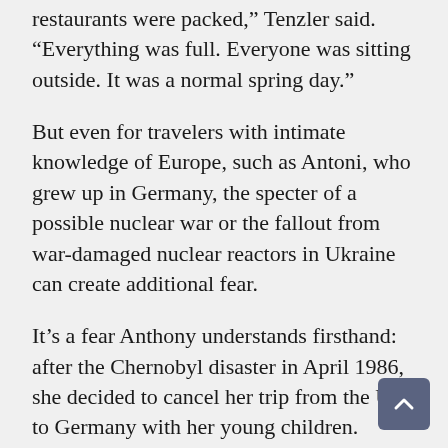restaurants were packed,” Tenzler said. “Everything was full. Everyone was sitting outside. It was a normal spring day.”
But even for travelers with intimate knowledge of Europe, such as Antoni, who grew up in Germany, the specter of a possible nuclear war or the fallout from war-damaged nuclear reactors in Ukraine can create additional fear.
It’s a fear Anthony understands firsthand: after the Chernobyl disaster in April 1986, she decided to cancel her trip from the US to Germany with her young children.
“It was a big deal,” Anthony said, recalling warnings about possible food contamination and other health hazards in Germany. “I hope and hope and hope this doesn’t happen again. But I always say, “I’ll